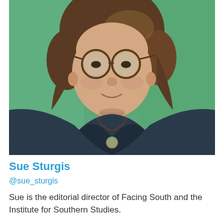[Figure (photo): Portrait photo of Sue Sturgis, a woman with curly brown hair and round glasses, wearing a dark navy v-neck top with a round pendant necklace, photographed against a teal/green background.]
Sue Sturgis
@sue_sturgis
Sue is the editorial director of Facing South and the Institute for Southern Studies.